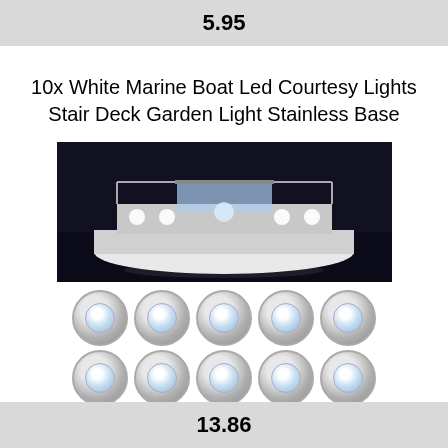5.95
10x White Marine Boat Led Courtesy Lights Stair Deck Garden Light Stainless Base
[Figure (photo): Photo of a boat at night with LED courtesy lights illuminating the deck, plus 10 round stainless LED light units arranged in two rows of 5]
13.86